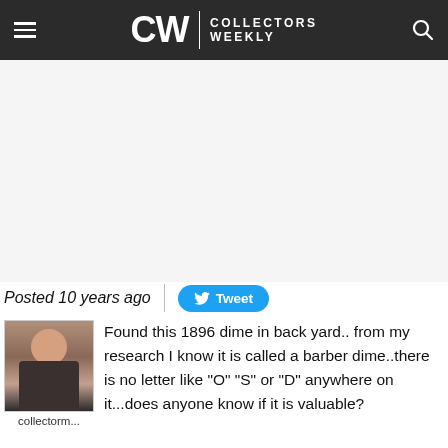CW | COLLECTORS WEEKLY
[Figure (other): Advertisement / blank white area below header]
Posted 10 years ago
[Figure (other): Tweet button with Twitter bird icon]
[Figure (photo): Avatar photo of user collectorm...]
Found this 1896 dime in back yard.. from my research I know it is called a barber dime..there is no letter like "O" "S" or "D" anywhere on it...does anyone know if it is valuable?